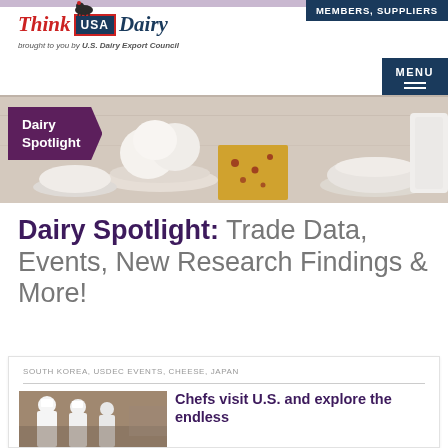MEMBERS, SUPPLIERS
[Figure (logo): Think USA Dairy logo — brought to you by U.S. Dairy Export Council]
MENU
[Figure (photo): Hero banner showing dairy products: ice cream, cheese, milk powder in bowls, with 'Dairy Spotlight' label overlay]
Dairy Spotlight: Trade Data, Events, New Research Findings & More!
SOUTH KOREA, USDEC EVENTS, CHEESE, JAPAN
[Figure (photo): Thumbnail photo of chefs in white uniforms]
Chefs visit U.S. and explore the endless